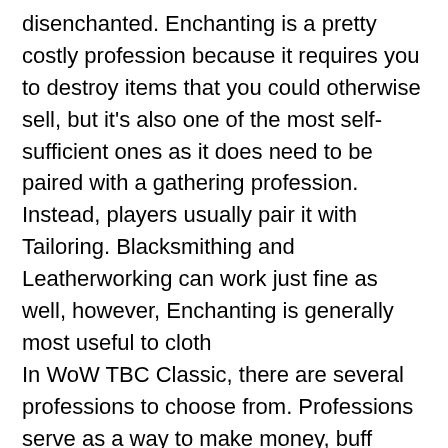disenchanted. Enchanting is a pretty costly profession because it requires you to destroy items that you could otherwise sell, but it's also one of the most self-sufficient ones as it does need to be paired with a gathering profession. Instead, players usually pair it with Tailoring. Blacksmithing and Leatherworking can work just fine as well, however, Enchanting is generally most useful to cloth
In WoW TBC Classic, there are several professions to choose from. Professions serve as a way to make money, buff parties, and be extremely powerful raid tools. You may have discovered that the above methods will take some time to see the effect, and your gaming experience will not be very good in the process. This is why I recommend you to buy WoW TBC Gold directly. You can save time and money and enjoy the most pure happiness of the game. At present, more...